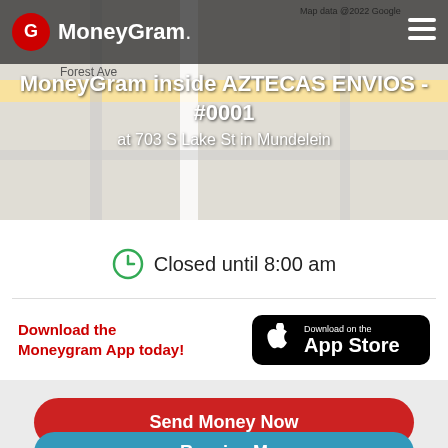[Figure (screenshot): Google Maps background showing street map with Forest Ave label and road markings]
MoneyGram
MoneyGram inside AZTECAS ENVIOS - #0001 at 703 S Lake St in Mundelein
Closed until 8:00 am
Download the Moneygram App today!
[Figure (logo): Download on the App Store button with Apple logo]
Send Money Now